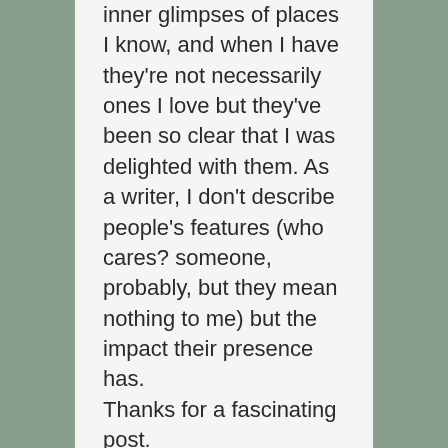inner glimpses of places I know, and when I have they're not necessarily ones I love but they've been so clear that I was delighted with them. As a writer, I don't describe people's features (who cares? someone, probably, but they mean nothing to me) but the impact their presence has.

Thanks for a fascinating post.